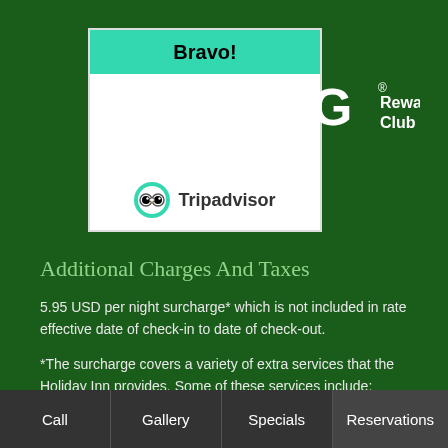[Figure (logo): Tripadvisor award box with 'Bravo!' header in teal and Tripadvisor logo at bottom]
[Figure (logo): IHG Rewards Club logo in white text on dark green background]
Additional Charges And Taxes
5.95 USD per night surcharge* which is not included in rate effective date of check-in to date of check-out.
*The surcharge covers a variety of extra services that the Holiday Inn provides. Some of these services include: complimentary ...
Call   Gallery   Specials   Reservations